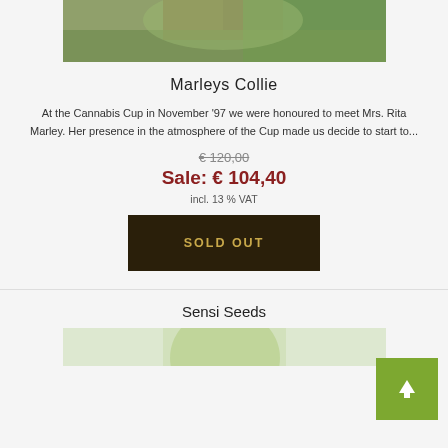[Figure (photo): Top portion of a cannabis plant product photo]
Marleys Collie
At the Cannabis Cup in November '97 we were honoured to meet Mrs. Rita Marley. Her presence in the atmosphere of the Cup made us decide to start to...
€ 120,00
Sale: € 104,40
incl. 13 % VAT
SOLD OUT
Sensi Seeds
[Figure (photo): Bottom portion of a cannabis plant product photo]